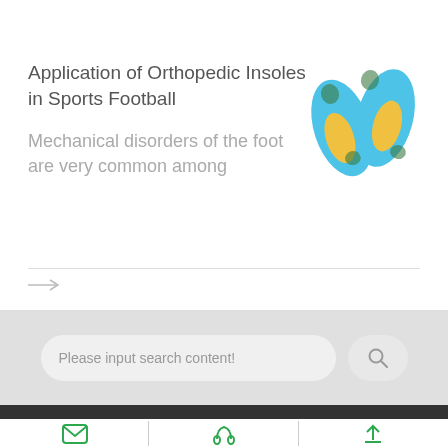Application of Orthopedic Insoles in Sports Football
Mechanical disorders of the foot are very common among
[Figure (illustration): Two blue and yellow orthopedic insoles illustration]
Please input search content!